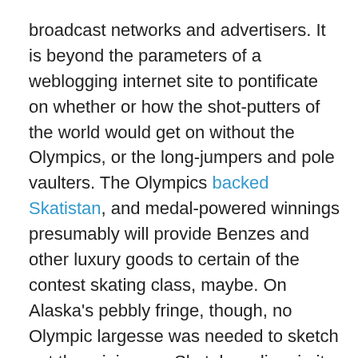broadcast networks and advertisers. It is beyond the parameters of a weblogging internet site to pontificate on whether or how the shot-putters of the world would get on without the Olympics, or the long-jumpers and pole vaulters. The Olympics backed Skatistan, and medal-powered winnings presumably will provide Benzes and other luxury goods to certain of the contest skating class, maybe. On Alaska's pebbly fringe, though, no Olympic largesse was needed to sketch out the mini ramp. Skateboarding, in its handful of decades of life, of its own accord already has penetrated Brazilian favelas, pushed through the Iron Curtain, east Africa, Mongolia, Peoria, Siberia.
Were the oft-obstructed Olympic long lens shots a quiet tribute to the ominous video style of the now-defunct Numbers Edition? Will a pickup in sales of Yuto pro